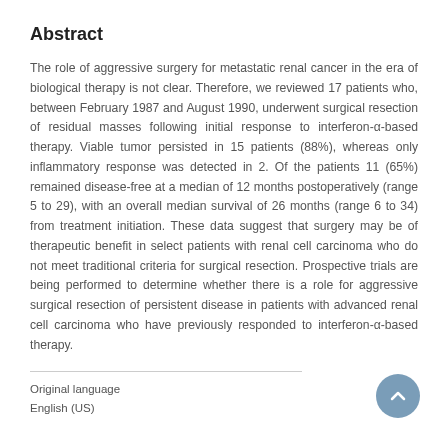Abstract
The role of aggressive surgery for metastatic renal cancer in the era of biological therapy is not clear. Therefore, we reviewed 17 patients who, between February 1987 and August 1990, underwent surgical resection of residual masses following initial response to interferon-α-based therapy. Viable tumor persisted in 15 patients (88%), whereas only inflammatory response was detected in 2. Of the patients 11 (65%) remained disease-free at a median of 12 months postoperatively (range 5 to 29), with an overall median survival of 26 months (range 6 to 34) from treatment initiation. These data suggest that surgery may be of therapeutic benefit in select patients with renal cell carcinoma who do not meet traditional criteria for surgical resection. Prospective trials are being performed to determine whether there is a role for aggressive surgical resection of persistent disease in patients with advanced renal cell carcinoma who have previously responded to interferon-α-based therapy.
Original language
English (US)